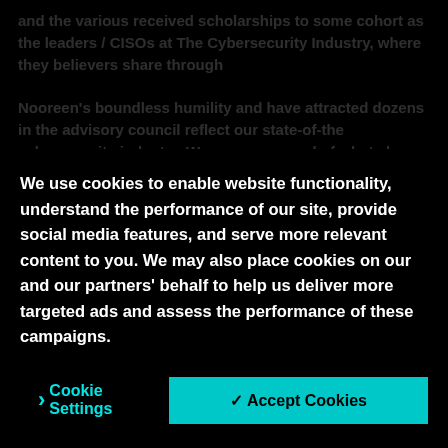and the various received scholarships to some cohort as the leaders / CISOs at The Cybersecurity Industry, where they believers share through
Nooreen's boundless humility and have attracted dozens in the advisory council reflect our state-of-the-cybersecurity industry. We are very proud of what she did at our Security Community Advisory Board brilliant, collaborative, and progressive in its evolution. Ultimately, it is a force of...
We use cookies to enable website functionality, understand the performance of our site, provide social media features, and serve more relevant content to you. We may also place cookies on our and our partners' behalf to help us deliver more targeted ads and assess the performance of these campaigns.
Cookie Settings
✓ Accept Cookies